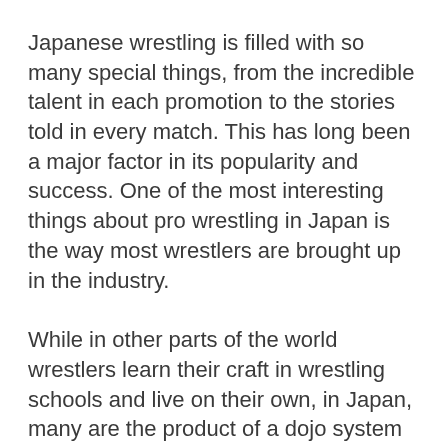Japanese wrestling is filled with so many special things, from the incredible talent in each promotion to the stories told in every match. This has long been a major factor in its popularity and success. One of the most interesting things about pro wrestling in Japan is the way most wrestlers are brought up in the industry.
While in other parts of the world wrestlers learn their craft in wrestling schools and live on their own, in Japan, many are the product of a dojo system and live where they train. Being a rookie wrestler in Japan is truly a unique experience. From the young lions of New Japan Pro Wrestling to the rookies or